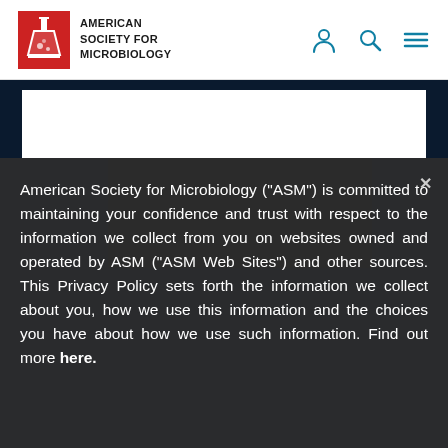[Figure (logo): American Society for Microbiology logo with red flask icon and text]
American Society for Microbiology ("ASM") is committed to maintaining your confidence and trust with respect to the information we collect from you on websites owned and operated by ASM ("ASM Web Sites") and other sources. This Privacy Policy sets forth the information we collect about you, how we use this information and the choices you have about how we use such information. Find out more here.